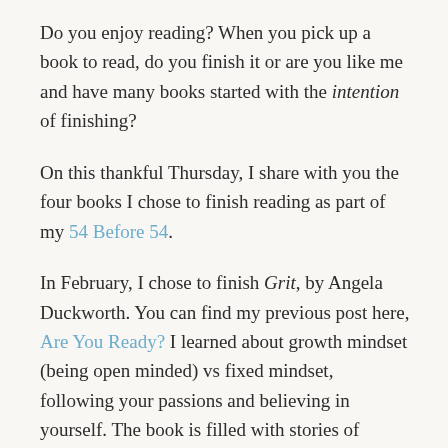Do you enjoy reading? When you pick up a book to read, do you finish it or are you like me and have many books started with the intention of finishing?
On this thankful Thursday, I share with you the four books I chose to finish reading as part of my 54 Before 54.
In February, I chose to finish Grit, by Angela Duckworth. You can find my previous post here, Are You Ready? I learned about growth mindset (being open minded) vs fixed mindset, following your passions and believing in yourself. The book is filled with stories of people of all walks of life who persevered by pushing through obstacles either by self motivation or having someone believe in them and giving them a boost.